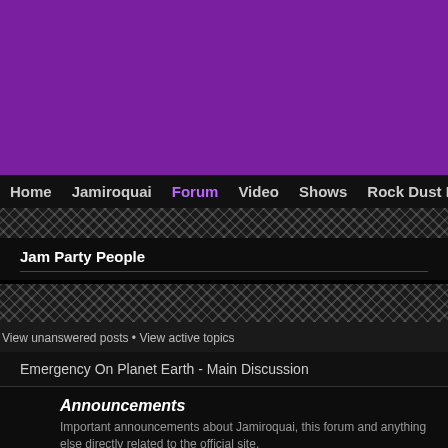[Figure (illustration): Purple banner background at top of page]
Home  Jamiroquai  Forum  Video  Shows  Rock Dust Light
Jam Party People
View unanswered posts • View active topics
Emergency On Planet Earth - Main Discussion
Announcements
Important announcements about Jamiroquai, this forum and anything else directly related to the official site.
Moderators: Neil, David
Jamiroquai Remix Project
Talk about the Jamiroquai Remix Project. Chat about your ideas and help each other create some amazing remixes.